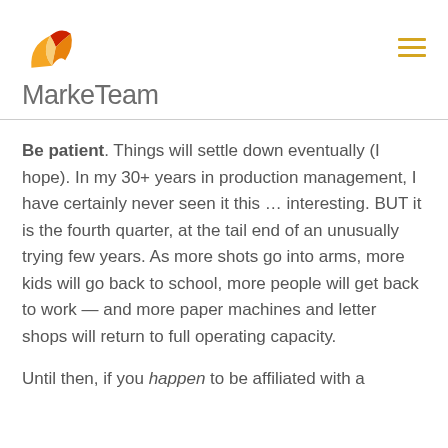[Figure (logo): MarkeTeam logo with orange/red geometric icon above the company name in gray]
Be patient. Things will settle down eventually (I hope). In my 30+ years in production management, I have certainly never seen it this … interesting. BUT it is the fourth quarter, at the tail end of an unusually trying few years. As more shots go into arms, more kids will go back to school, more people will get back to work — and more paper machines and letter shops will return to full operating capacity.
Until then, if you happen to be affiliated with a